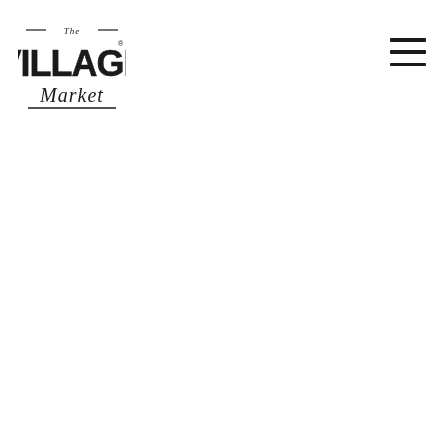[Figure (logo): The Village Market logo — bold condensed serif 'VILLAGE' text with decorative 'The' above and script 'Market' below, registered trademark symbol, black on white]
[Figure (other): Hamburger menu icon — three horizontal black lines stacked vertically]